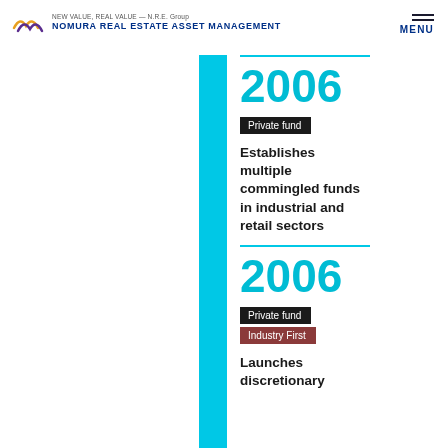NEW VALUE, REAL VALUE — N.R.E. Group NOMURA REAL ESTATE ASSET MANAGEMENT
2006
Private fund
Establishes multiple commingled funds in industrial and retail sectors
2006
Private fund
Industry First
Launches discretionary